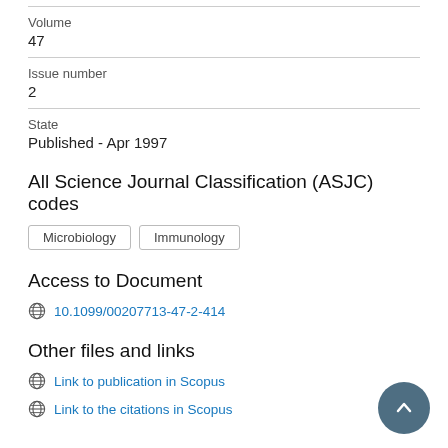Volume
47
Issue number
2
State
Published - Apr 1997
All Science Journal Classification (ASJC) codes
Microbiology
Immunology
Access to Document
10.1099/00207713-47-2-414
Other files and links
Link to publication in Scopus
Link to the citations in Scopus